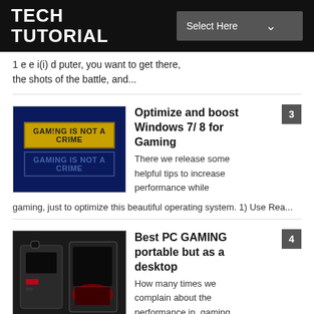TECH TUTORIAL
1 e e i(i) d puter, you want to get there, the shots of the battle, and...
3 Optimize and boost Windows 7/ 8 for Gaming - There we release some helpful tips to increase performance while gaming, just to optimize this beautiful operating system. 1) Use Rea...
4 Best PC GAMING portable but as a desktop - How many times we complain about the performance in gaming laptops? The laptops has a value very low and mostly even the top models are not...
5 Best keyboard PC